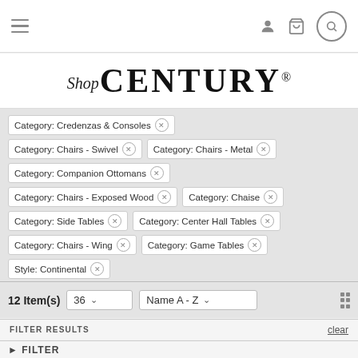Shop CENTURY® — navigation bar with hamburger menu, user, cart, and search icons
[Figure (logo): Shop CENTURY® logo with italic 'Shop' and bold serif CENTURY with registered trademark]
Category: Credenzas & Consoles ×
Category: Chairs - Swivel ×
Category: Chairs - Metal ×
Category: Companion Ottomans ×
Category: Chairs - Exposed Wood ×
Category: Chaise ×
Category: Side Tables ×
Category: Center Hall Tables ×
Category: Chairs - Wing ×
Category: Game Tables ×
Style: Continental ×
12 Item(s)   36 ∨   Name A - Z ∨
FILTER RESULTS   clear
▶ FILTER
LIVING ROOM